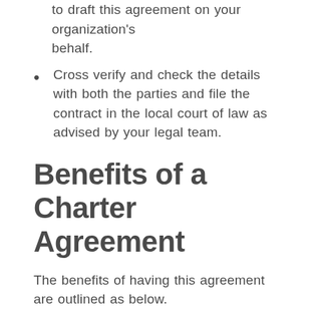to draft this agreement on your organization's behalf.
Cross verify and check the details with both the parties and file the contract in the local court of law as advised by your legal team.
Benefits of a Charter Agreement
The benefits of having this agreement are outlined as below.
Pros
This legal document clearly outlines the individual responsibilities of both the parties before and after the contract has come into effect and thus makes sure that both parties are well aware of their duties and